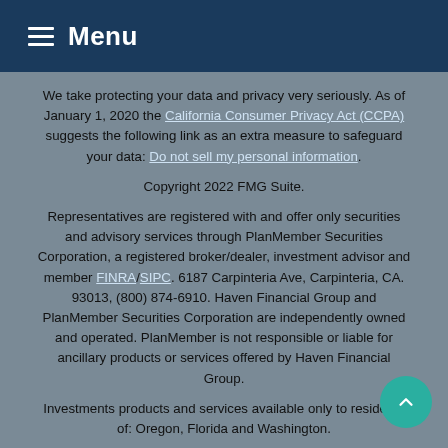Menu
We take protecting your data and privacy very seriously. As of January 1, 2020 the California Consumer Privacy Act (CCPA) suggests the following link as an extra measure to safeguard your data: Do not sell my personal information.
Copyright 2022 FMG Suite.
Representatives are registered with and offer only securities and advisory services through PlanMember Securities Corporation, a registered broker/dealer, investment advisor and member FINRA/SIPC. 6187 Carpinteria Ave, Carpinteria, CA. 93013, (800) 874-6910. Haven Financial Group and PlanMember Securities Corporation are independently owned and operated. PlanMember is not responsible or liable for ancillary products or services offered by Haven Financial Group.
Investments products and services available only to residents of: Oregon, Florida and Washington.